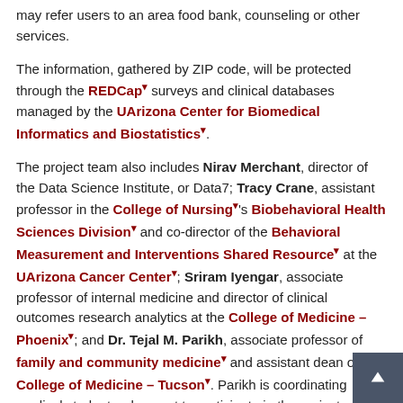may refer users to an area food bank, counseling or other services.
The information, gathered by ZIP code, will be protected through the REDCap surveys and clinical databases managed by the UArizona Center for Biomedical Informatics and Biostatistics.
The project team also includes Nirav Merchant, director of the Data Science Institute, or Data7; Tracy Crane, assistant professor in the College of Nursing's Biobehavioral Health Sciences Division and co-director of the Behavioral Measurement and Interventions Shared Resource at the UArizona Cancer Center; Sriram Iyengar, associate professor of internal medicine and director of clinical outcomes research analytics at the College of Medicine – Phoenix; and Dr. Tejal M. Parikh, associate professor of family and community medicine and assistant dean of the College of Medicine – Tucson. Parikh is coordinating medical students who want to participate in the project.